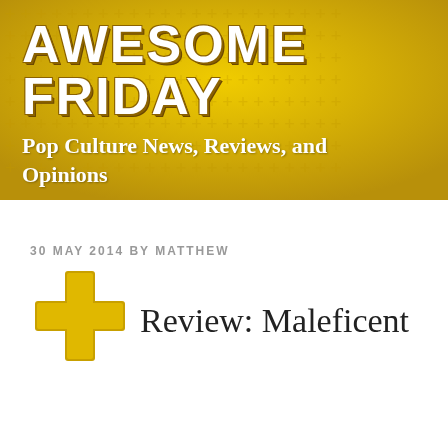[Figure (logo): Awesome Friday website header banner with yellow/gold crosshatch pattern background, large white bold text 'AWESOME FRIDAY' with brown outline, and subtitle 'Pop Culture News, Reviews, and Opinions' in white bold serif text]
30 MAY 2014 BY MATTHEW
Review: Maleficent